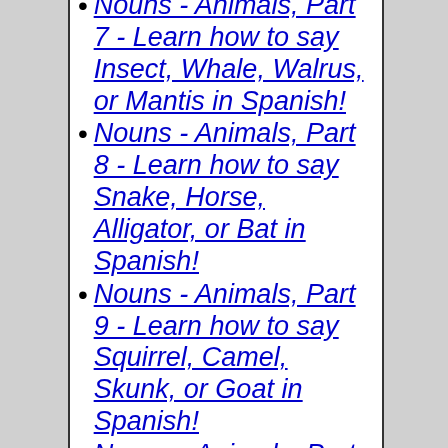Nouns - Animals, Part 7 - Learn how to say Insect, Whale, Walrus, or Mantis in Spanish!
Nouns - Animals, Part 8 - Learn how to say Snake, Horse, Alligator, or Bat in Spanish!
Nouns - Animals, Part 9 - Learn how to say Squirrel, Camel, Skunk, or Goat in Spanish!
Nouns - Animals, Part 10 - Learn how to say Hummingbird, Coyote, Firefly, or Duck in Spanish!
Nouns - Animals, Part 11 - Learn how to say Pigeon, Zebra, Snail, or